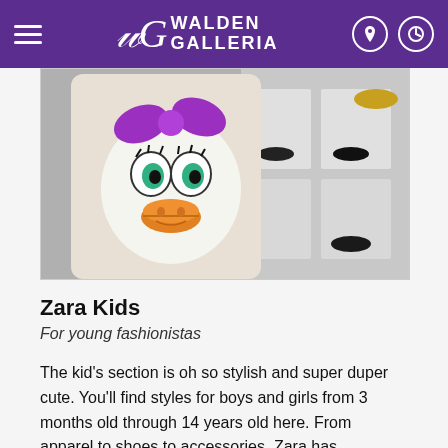Walden Galleria
[Figure (photo): Close-up photo of a white sweatshirt featuring a Daisy Duck sequin graphic with purple bow, shown hanging in a store. In the background, a shoe store display is visible with boots and sandals on white shelves.]
Zara Kids
For young fashionistas
The kid's section is oh so stylish and super duper cute. You'll find styles for boys and girls from 3 months old through 14 years old here. From apparel to shoes to accessories, Zara has everything your mini me needs.